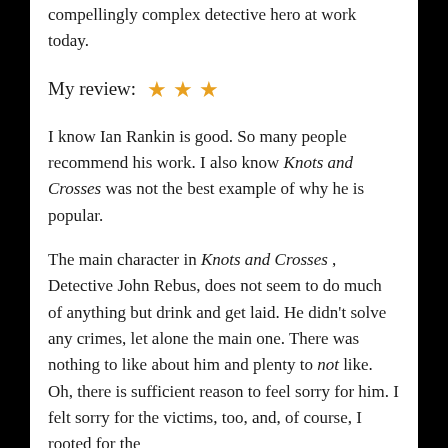compellingly complex detective hero at work today.
My review: ★ ★ ★
I know Ian Rankin is good. So many people recommend his work. I also know Knots and Crosses was not the best example of why he is popular.
The main character in Knots and Crosses , Detective John Rebus, does not seem to do much of anything but drink and get laid. He didn't solve any crimes, let alone the main one. There was nothing to like about him and plenty to not like. Oh, there is sufficient reason to feel sorry for him. I felt sorry for the victims, too, and, of course, I rooted for the